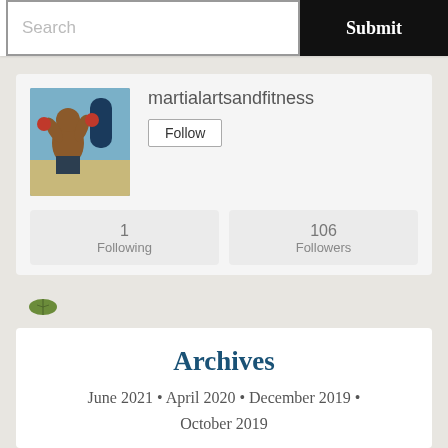Search
Submit
martialartsandfitness
Follow
1
Following
106
Followers
[Figure (illustration): Green leaf/avatar icon]
Archives
June 2021 • April 2020 • December 2019 • October 2019
Categories